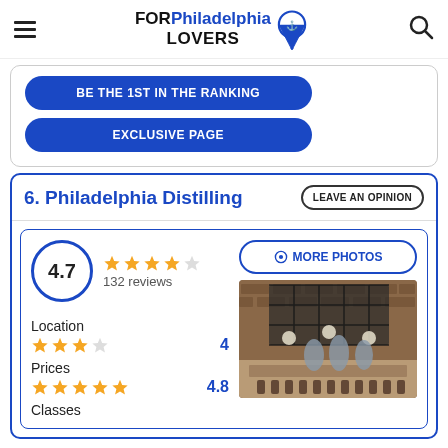FOR Philadelphia LOVERS
BE THE 1ST IN THE RANKING
EXCLUSIVE PAGE
6. Philadelphia Distilling
LEAVE AN OPINION
4.7
132 reviews
MORE PHOTOS
Location
4
Prices
4.8
Classes
[Figure (photo): Interior of Philadelphia Distilling venue with brick walls, large distillation equipment, hanging globe lights, and bar seating]